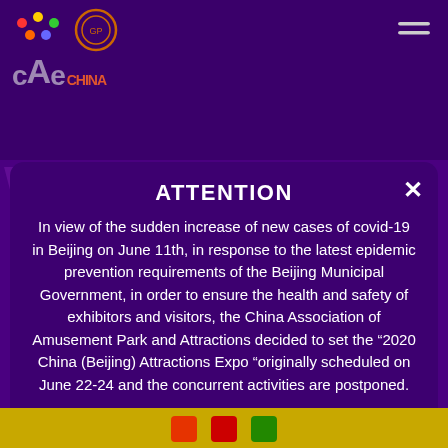[Figure (screenshot): Website background with dark purple header showing CAE logo with colored dots and circular emblem, hamburger menu icon. Background text watermarks in purple. Bottom yellow/gold strip with colorful icons.]
ATTENTION
In view of the sudden increase of new cases of covid-19 in Beijing on June 11th, in response to the latest epidemic prevention requirements of the Beijing Municipal Government, in order to ensure the health and safety of exhibitors and visitors, the China Association of Amusement Park and Attractions decided to set the “2020 China (Beijing) Attractions Expo “originally scheduled on June 22-24 and the concurrent activities are postponed.

We will let you know the new date once it will be set up.

Thank you for your patience.
GO IT!